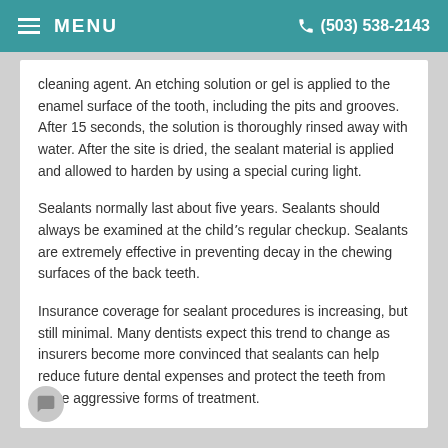MENU   (503) 538-2143
cleaning agent. An etching solution or gel is applied to the enamel surface of the tooth, including the pits and grooves. After 15 seconds, the solution is thoroughly rinsed away with water. After the site is dried, the sealant material is applied and allowed to harden by using a special curing light.
Sealants normally last about five years. Sealants should always be examined at the childʼs regular checkup. Sealants are extremely effective in preventing decay in the chewing surfaces of the back teeth.
Insurance coverage for sealant procedures is increasing, but still minimal. Many dentists expect this trend to change as insurers become more convinced that sealants can help reduce future dental expenses and protect the teeth from more aggressive forms of treatment.